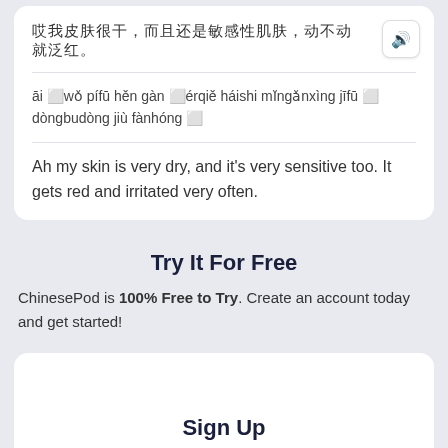哎我皮肤很干，而且还是敏感性肌肤，动不动就泛红。
āi wǒ pífū hěn gàn érqiě háishi mǐngǎnxìng jīfū dòngbudòng jiù fànhóng
Ah my skin is very dry, and it's very sensitive too. It gets red and irritated very often.
Try It For Free
ChinesePod is 100% Free to Try. Create an account today and get started!
Sign Up